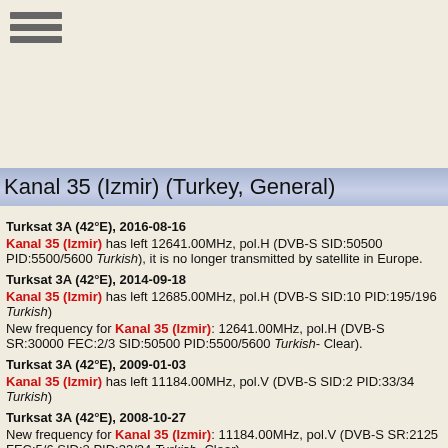[Figure (other): Hamburger menu icon with three horizontal lines]
Kanal 35 (Izmir) (Turkey, General)
Turksat 3A (42°E), 2016-08-16
Kanal 35 (Izmir) has left 12641.00MHz, pol.H (DVB-S SID:50500 PID:5500/5600 Turkish), it is no longer transmitted by satellite in Europe.
Turksat 3A (42°E), 2014-09-18
Kanal 35 (Izmir) has left 12685.00MHz, pol.H (DVB-S SID:10 PID:195/196 Turkish)
New frequency for Kanal 35 (Izmir): 12641.00MHz, pol.H (DVB-S SR:30000 FEC:2/3 SID:50500 PID:5500/5600 Turkish- Clear).
Turksat 3A (42°E), 2009-01-03
Kanal 35 (Izmir) has left 11184.00MHz, pol.V (DVB-S SID:2 PID:33/34 Turkish)
Turksat 3A (42°E), 2008-10-27
New frequency for Kanal 35 (Izmir): 11184.00MHz, pol.V (DVB-S SR:2125 FEC:5/6 SID:2 PID:33/34 Turkish- Clear).
Kanal 35 (Izmir) has left 11011.00MHz, pol.V (DVB-S SID:2 PID:33/34 Turkish)
Turksat 2A (24.2°E), 2008-10-27
New frequency for Kanal 35 (Izmir): 12685.00MHz, pol.H (DVB-S SR:30000 FEC:3/4 SID:10 PID:195/196 Turkish- Clear).
Turksat 2A (42°E), 2008-07-17